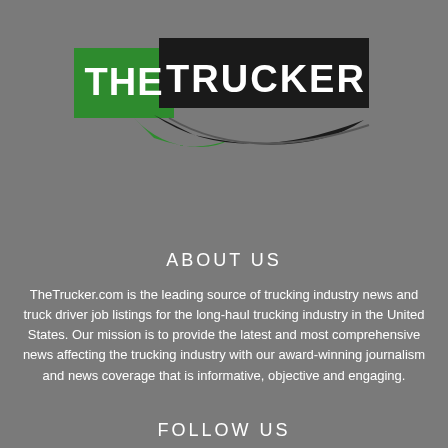[Figure (logo): The Trucker logo: green rectangle with white bold text 'THE', black banner with white bold text 'TRUCKER', green and black swoosh/arrow shapes underneath]
ABOUT US
TheTrucker.com is the leading source of trucking industry news and truck driver job listings for the long-haul trucking industry in the United States. Our mission is to provide the latest and most comprehensive news affecting the trucking industry with our award-winning journalism and news coverage that is informative, objective and engaging.
FOLLOW US